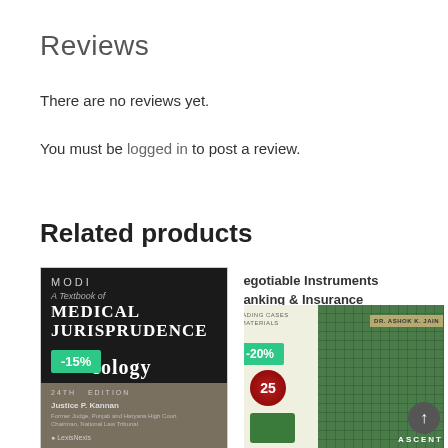Reviews
There are no reviews yet.
You must be logged in to post a review.
Related products
[Figure (photo): Book cover: Modi A Textbook of Medical Jurisprudence, 24th Edition, by Justice P. Kannan, with -15% discount badge]
[Figure (photo): Book cover: Negotiable Instruments Banking & Insurance, Leading Cases & Materials, by Dr. Ashok K. Jain, with -20% discount badge, Ascent publisher]